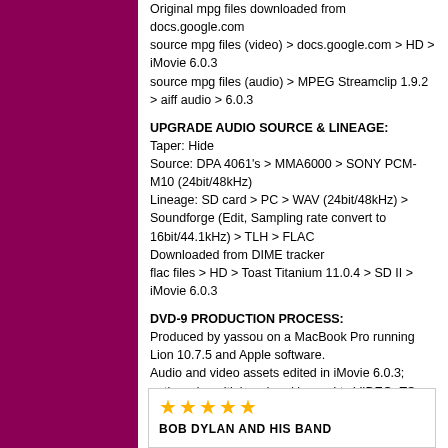Original mpg files downloaded from docs.google.com
source mpg files (video) > docs.google.com > HD > iMovie 6.0.3
source mpg files (audio) > MPEG Streamclip 1.9.2 > aiff audio > 6.0.3
UPGRADE AUDIO SOURCE & LINEAGE:
Taper: Hide
Source: DPA 4061's > MMA6000 > SONY PCM-M10 (24bit/48kHz)
Lineage: SD card > PC > WAV (24bit/48kHz) > Soundforge (Edit, Sampling rate convert to 16bit/44.1kHz) > TLH > FLAC
Downloaded from DIME tracker
flac files > HD > Toast Titanium 11.0.4 > SD II > iMovie 6.0.3
DVD-9 PRODUCTION PROCESS:
Produced by yassou on a MacBook Pro running Lion 10.7.5 and Apple software.
Audio and video assets edited in iMovie 6.0.3; authored, multiplexed and burned to VIDEO_TS folder in iDVD 7.1.2 (Professional Quality 2-pass variable bit rate encoding)
★★★★★
BOB DYLAN AND HIS BAND